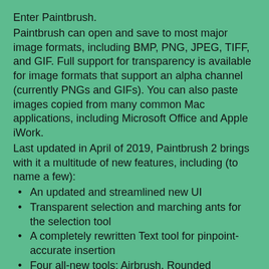Enter Paintbrush.
Paintbrush can open and save to most major image formats, including BMP, PNG, JPEG, TIFF, and GIF. Full support for transparency is available for image formats that support an alpha channel (currently PNGs and GIFs). You can also paste images copied from many common Mac applications, including Microsoft Office and Apple iWork.
Last updated in April of 2019, Paintbrush 2 brings with it a multitude of new features, including (to name a few):
An updated and streamlined new UI
Transparent selection and marching ants for the selection tool
A completely rewritten Text tool for pinpoint-accurate insertion
Four all-new tools: Airbrush, Rounded Rectangle, Eyedropper, and Zoom
Image resizing, canvas resizing, and cropping
Countless bug fixes and speed improvements
And much, much more!